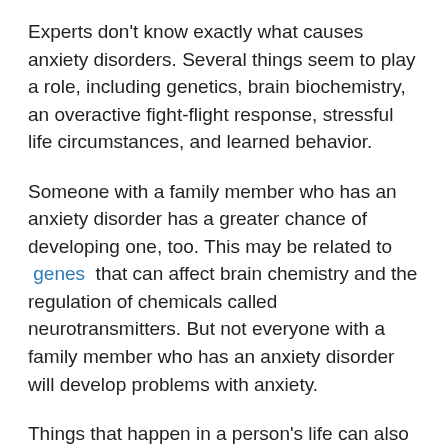Experts don't know exactly what causes anxiety disorders. Several things seem to play a role, including genetics, brain biochemistry, an overactive fight-flight response, stressful life circumstances, and learned behavior.
Someone with a family member who has an anxiety disorder has a greater chance of developing one, too. This may be related to genes that can affect brain chemistry and the regulation of chemicals called neurotransmitters. But not everyone with a family member who has an anxiety disorder will develop problems with anxiety.
Things that happen in a person's life can also set the stage for anxiety disorders. Frightening traumatic events that can lead to PTSD are a good example.
Growing up in a family where others are fearful or anxious